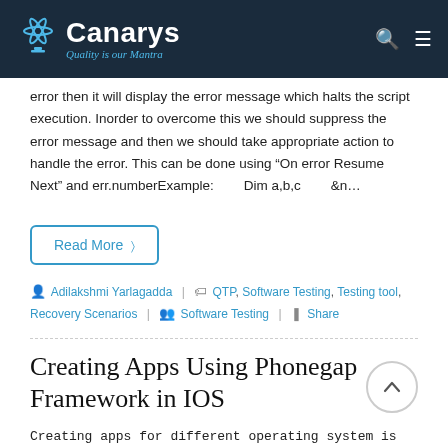Canarys — Quality is our Mantra
error then it will display the error message which halts the script execution. Inorder to overcome this we should suppress the error message and then we should take appropriate action to handle the error. This can be done using "On error Resume Next" and err.numberExample:        Dim a,b,c        &n...
Read More >
Adilakshmi Yarlagadda  |   QTP, Software Testing, Testing tool, Recovery Scenarios  |   Software Testing  |   Share
Creating Apps Using Phonegap Framework in IOS
Creating apps for different operating system is not a reliability so for reducing developr work for all devices, the phonegap framework comes into picture with a highly responsive for all